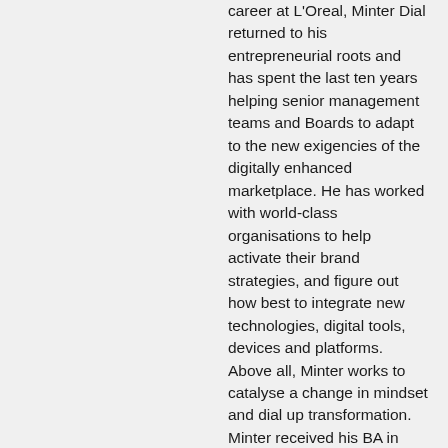career at L'Oreal, Minter Dial returned to his entrepreneurial roots and has spent the last ten years helping senior management teams and Boards to adapt to the new exigencies of the digitally enhanced marketplace. He has worked with world-class organisations to help activate their brand strategies, and figure out how best to integrate new technologies, digital tools, devices and platforms. Above all, Minter works to catalyse a change in mindset and dial up transformation. Minter received his BA in Trilingual Literature from Yale University (1987) and gained his MBA at INSEAD, Fontainebleau (1993). His books include Heartificial Empathy, Putting Heart into Business and Artificial Intelligence, bowed in December 2018 and won the Book Excellence Award 2019 as well as being shortlisted for the Business Book Awards 2019. It's available in Audiobook, Kindle and Paperback. He is also co-author of Futureproof (Pearson, Sep 2017) and sole author of The Last Ring Home (Myndset Press, Nov 2016), a book and documentary film, both of which have won awards and critical